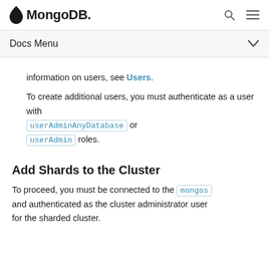MongoDB
Docs Menu
information on users, see Users.
To create additional users, you must authenticate as a user with userAdminAnyDatabase or userAdmin roles.
Add Shards to the Cluster
To proceed, you must be connected to the mongos and authenticated as the cluster administrator user for the sharded cluster.